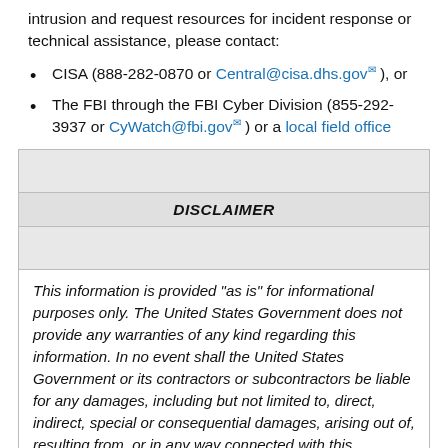intrusion and request resources for incident response or technical assistance, please contact:
CISA (888-282-0870 or Central@cisa.dhs.gov ), or
The FBI through the FBI Cyber Division (855-292-3937 or CyWatch@fbi.gov ) or a local field office
|  |
| DISCLAIMER |
|  |
| This information is provided "as is" for informational purposes only. The United States Government does not provide any warranties of any kind regarding this information. In no event shall the United States Government or its contractors or subcontractors be liable for any damages, including but not limited to, direct, indirect, special or consequential damages, arising out of, resulting from, or in any way connected with this information, whether or not based upon warranty, |